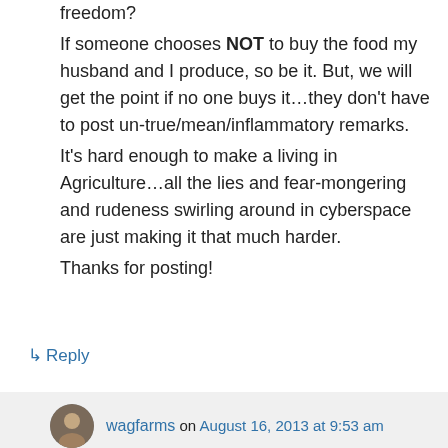freedom?
If someone chooses NOT to buy the food my husband and I produce, so be it. But, we will get the point if no one buys it…they don't have to post un-true/mean/inflammatory remarks.
It's hard enough to make a living in Agriculture…all the lies and fear-mongering and rudeness swirling around in cyberspace are just making it that much harder.
Thanks for posting!
↳ Reply
wagfarms on August 16, 2013 at 9:53 am
Freedom…funny how we take it for